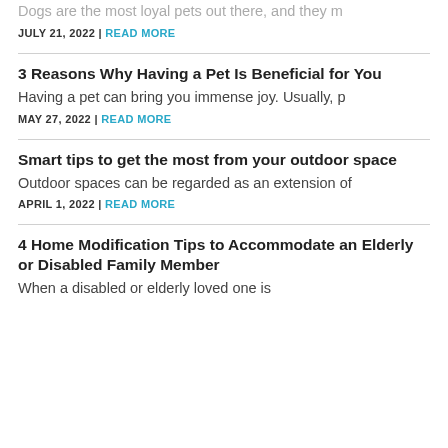Dogs are the most loyal pets out there, and they m
JULY 21, 2022 | READ MORE
3 Reasons Why Having a Pet Is Beneficial for You
Having a pet can bring you immense joy. Usually, p
MAY 27, 2022 | READ MORE
Smart tips to get the most from your outdoor space
Outdoor spaces can be regarded as an extension of
APRIL 1, 2022 | READ MORE
4 Home Modification Tips to Accommodate an Elderly or Disabled Family Member
When a disabled or elderly loved one is